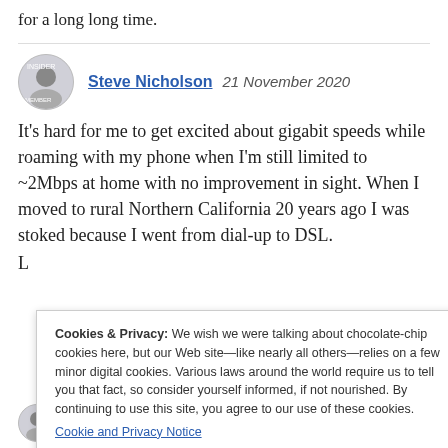for a long long time.
Steve Nicholson  21 November 2020
It's hard for me to get excited about gigabit speeds while roaming with my phone when I'm still limited to ~2Mbps at home with no improvement in sight. When I moved to rural Northern California 20 years ago I was stoked because I went from dial-up to DSL.
Cookies & Privacy: We wish we were talking about chocolate-chip cookies here, but our Web site—like nearly all others—relies on a few minor digital cookies. Various laws around the world require us to tell you that fact, so consider yourself informed, if not nourished. By continuing to use this site, you agree to our use of these cookies. Cookie and Privacy Notice
Close and Accept
mac: